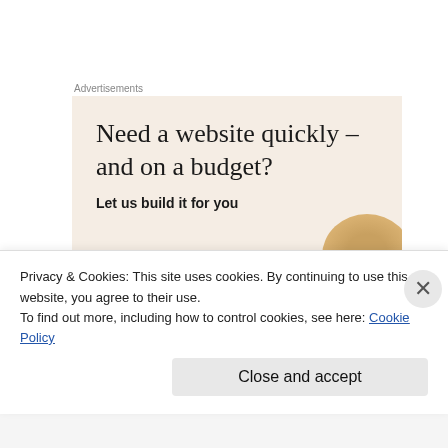Advertisements
[Figure (other): Advertisement banner with beige/cream background. Headline: 'Need a website quickly – and on a budget?' Subtext: 'Let us build it for you'. Decorative golden bowl/circle shape at bottom right.]
Secondly, I was contacted by someone who actually read my blog. He and his wife are interior designers coming for
Privacy & Cookies: This site uses cookies. By continuing to use this website, you agree to their use.
To find out more, including how to control cookies, see here: Cookie Policy
Close and accept